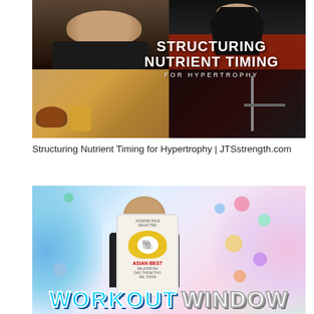[Figure (photo): Collage of four photos: top-left man in black shirt eating, top-right muscular man in gym posing, bottom-left fast food meal, bottom-right gym equipment. Overlaid text reads STRUCTURING NUTRIENT TIMING FOR HYPERTROPHY.]
Structuring Nutrient Timing for Hypertrophy | JTSstrength.com
[Figure (photo): Man holding a bag of Asian Best rice with colorful swirl background and pills. Bottom text reads WORKOUT WINDOW in large cyan letters.]